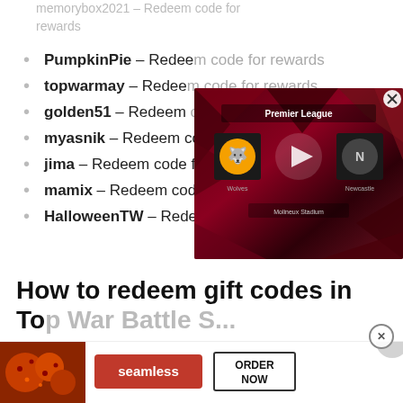memorybox2021 – Redeem code for rewards
PumpkinPie – Redeem code for rewards
topwarmay – Redeem code for rewards
golden51 – Redeem code for rewards
myasnik – Redeem code for rewards
jima – Redeem code for rewards
mamix – Redeem code for rewards
HalloweenTW – Redeem code for rewards
[Figure (screenshot): Premier League video overlay showing Wolves vs Newcastle at Molineux Stadium with play button]
How to redeem gift codes in Top War Battle...
[Figure (screenshot): Seamless food delivery advertisement banner with pizza image, seamless logo, and ORDER NOW button]